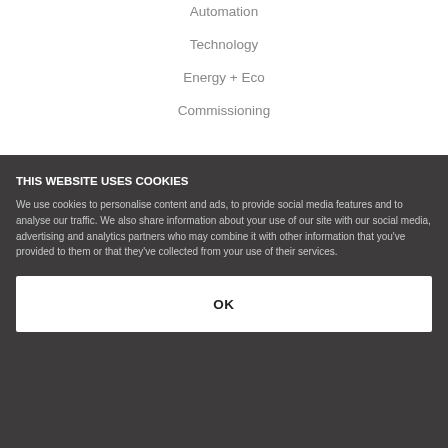Automation
Technology
Energy + Eco
Commissioning
About
THIS WEBSITE USES COOKIES
We use cookies to personalise content and ads, to provide social media features and to analyse our traffic. We also share information about your use of our site with our social media, advertising and analytics partners who may combine it with other information that you've provided to them or that they've collected from your use of their services.
OK
Company
Portfolio